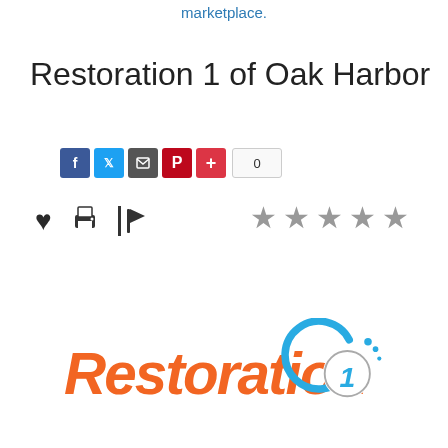marketplace.
Restoration 1 of Oak Harbor
[Figure (infographic): Social share buttons: Facebook (blue), Twitter (blue), Google+ (grey), Pinterest (red), Plus (red), and a count box showing 0]
[Figure (infographic): Action icons row: heart (favorite), printer, flag/report; and 5 grey star rating icons on the right]
[Figure (logo): Restoration 1 logo: orange italic bold text 'Restoration' with a blue circular swoosh emblem and white number 1]